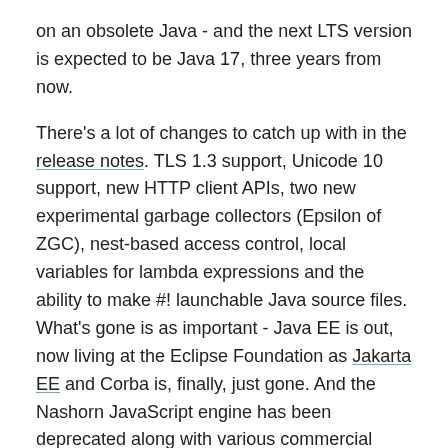on an obsolete Java - and the next LTS version is expected to be Java 17, three years from now.
There's a lot of changes to catch up with in the release notes. TLS 1.3 support, Unicode 10 support, new HTTP client APIs, two new experimental garbage collectors (Epsilon of ZGC), nest-based access control, local variables for lambda expressions and the ability to make #! launchable Java source files. What's gone is as important - Java EE is out, now living at the Eclipse Foundation as Jakarta EE and Corba is, finally, just gone. And the Nashorn JavaScript engine has been deprecated along with various commercial features and packaging tools.
But before you rush to Oracle's Java/JDK 11 site to download some of the latest Java, there's a few things to remember. This particular release from Oracle, requires